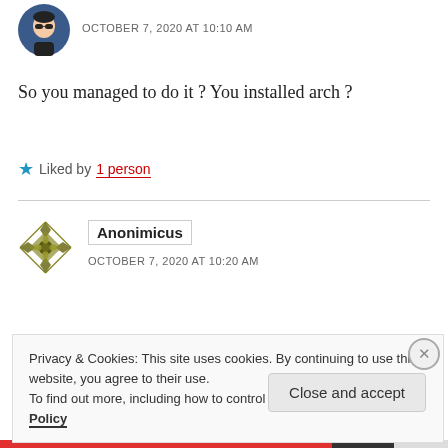[Figure (illustration): Circular avatar of a cartoon person with dark sunglasses and black outfit on a blue/dark background]
OCTOBER 7, 2020 AT 10:10 AM
So you managed to do it ? You installed arch ?
★ Liked by 1 person
[Figure (illustration): Anonimicus avatar: decorative geometric pattern in olive/dark yellow with diamond shapes]
Anonimicus
OCTOBER 7, 2020 AT 10:20 AM
Privacy & Cookies: This site uses cookies. By continuing to use this website, you agree to their use.
To find out more, including how to control cookies, see here: Cookie Policy
Close and accept